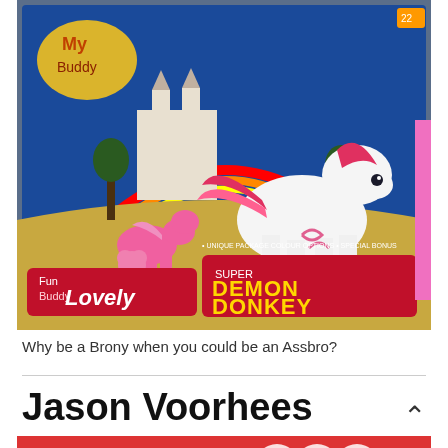[Figure (photo): A toy box featuring a knockoff My Little Pony-style toy labeled 'Demon Donkey' and 'Lovely', showing pink and white horse/donkey figures with wings against a colorful castle backdrop.]
Why be a Brony when you could be an Assbro?
Jason Voorhees
[Figure (photo): Partial view of a retail price tag showing '001 ASST. 666', '10.80', and partial view of a product on a red background.]